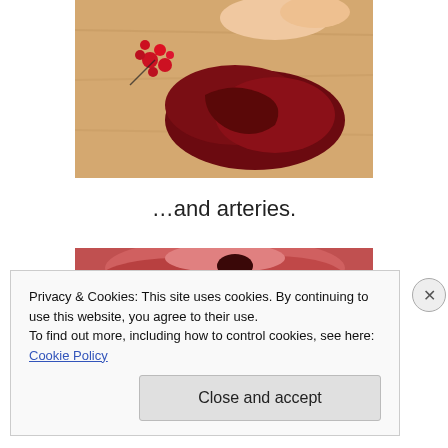[Figure (photo): Close-up photo of a dark red biological specimen (organ tissue/arteries) being held by fingers against a light wooden surface]
…and arteries.
[Figure (photo): Close-up photo of red/pink biological tissue, partially visible at bottom of page]
Privacy & Cookies: This site uses cookies. By continuing to use this website, you agree to their use.
To find out more, including how to control cookies, see here: Cookie Policy
Close and accept